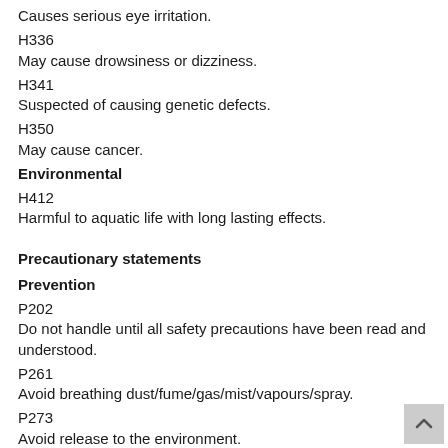Causes serious eye irritation.
H336
May cause drowsiness or dizziness.
H341
Suspected of causing genetic defects.
H350
May cause cancer.
Environmental
H412
Harmful to aquatic life with long lasting effects.
Precautionary statements
Prevention
P202
Do not handle until all safety precautions have been read and understood.
P261
Avoid breathing dust/fume/gas/mist/vapours/spray.
P273
Avoid release to the environment.
P281
Use personal protective equipment as required.